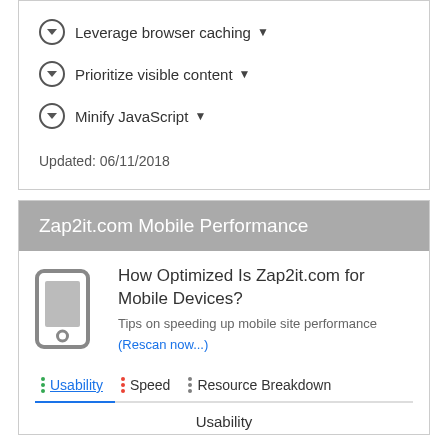Leverage browser caching ▾
Prioritize visible content ▾
Minify JavaScript ▾
Updated: 06/11/2018
Zap2it.com Mobile Performance
How Optimized Is Zap2it.com for Mobile Devices?
Tips on speeding up mobile site performance
(Rescan now...)
Usability   Speed   Resource Breakdown
Usability